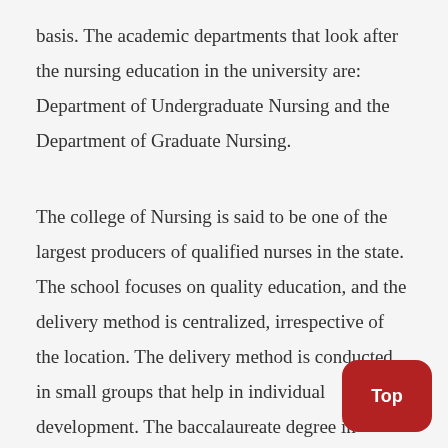basis. The academic departments that look after the nursing education in the university are: Department of Undergraduate Nursing and the Department of Graduate Nursing.
The college of Nursing is said to be one of the largest producers of qualified nurses in the state. The school focuses on quality education, and the delivery method is centralized, irrespective of the location. The delivery method is conducted in small groups that help in individual development. The baccalaureate degree in nursing, master's degree in nursing, Doctor of Nursing Practice, and post-graduate APRN certificate provided by the University of Texas at Arlington are accredited by the Commission on Collegiate Nursing Education.